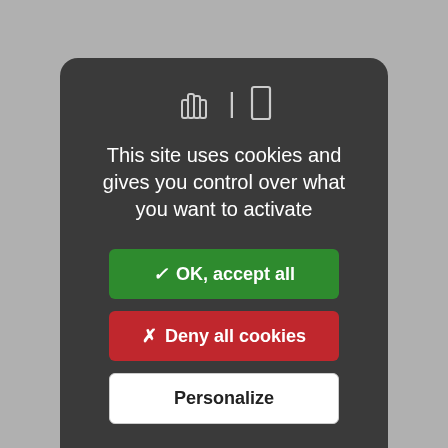[Figure (screenshot): Cookie consent modal dialog on a dark rounded rectangle background. Contains two icons (hand/cookie), main text, and three buttons: OK accept all (green), Deny all cookies (red), and Personalize (white). Behind the modal is a blurred book cover showing 'DU TUEUR' and 'LEATHERFACE' text.]
This site uses cookies and gives you control over what you want to activate
✓ OK, accept all
✗ Deny all cookies
Personalize